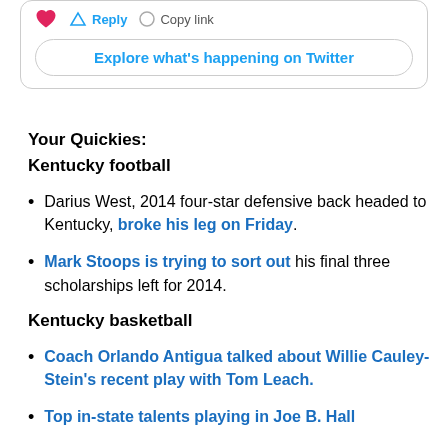[Figure (screenshot): Twitter embed box showing action buttons (heart, Reply, Copy link) and an 'Explore what's happening on Twitter' button]
Your Quickies:
Kentucky football
Darius West, 2014 four-star defensive back headed to Kentucky, broke his leg on Friday.
Mark Stoops is trying to sort out his final three scholarships left for 2014.
Kentucky basketball
Coach Orlando Antigua talked about Willie Cauley-Stein's recent play with Tom Leach.
Top in-state talents playing in Joe B. Hall